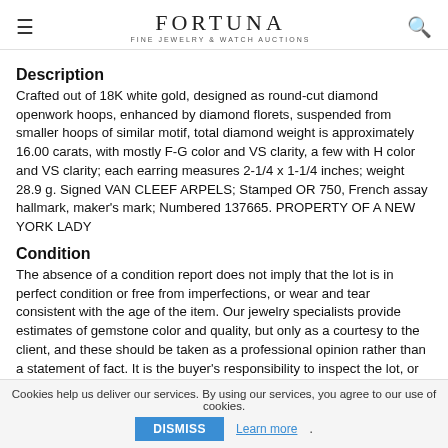FORTUNA FINE JEWELRY & WATCH AUCTIONS
Description
Crafted out of 18K white gold, designed as round-cut diamond openwork hoops, enhanced by diamond florets, suspended from smaller hoops of similar motif, total diamond weight is approximately 16.00 carats, with mostly F-G color and VS clarity, a few with H color and VS clarity; each earring measures 2-1/4 x 1-1/4 inches; weight 28.9 g. Signed VAN CLEEF ARPELS; Stamped OR 750, French assay hallmark, maker's mark; Numbered 137665. PROPERTY OF A NEW YORK LADY
Condition
The absence of a condition report does not imply that the lot is in perfect condition or free from imperfections, or wear and tear consistent with the age of the item. Our jewelry specialists provide estimates of gemstone color and quality, but only as a courtesy to the client, and these should be taken as a professional opinion rather than a statement of fact. It is the buyer's responsibility to inspect the lot, or request additional
Cookies help us deliver our services. By using our services, you agree to our use of cookies. DISMISS Learn more.